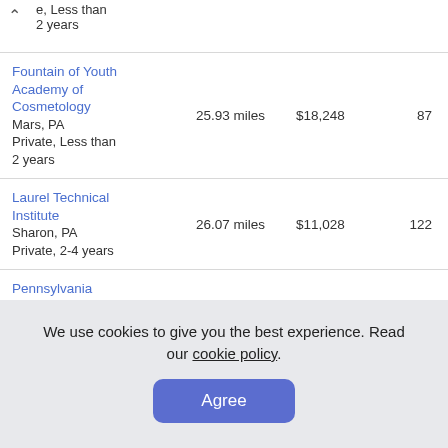e, Less than 2 years
| School | Distance | Cost | Enrollment |
| --- | --- | --- | --- |
| Fountain of Youth Academy of Cosmetology
Mars, PA
Private, Less than 2 years | 25.93 miles | $18,248 | 87 |
| Laurel Technical Institute
Sharon, PA
Private, 2-4 years | 26.07 miles | $11,028 | 122 |
| Pennsylvania State University-Penn State Shenango | 26.12 miles | $22,374 | 419 |
We use cookies to give you the best experience. Read our cookie policy.
Agree